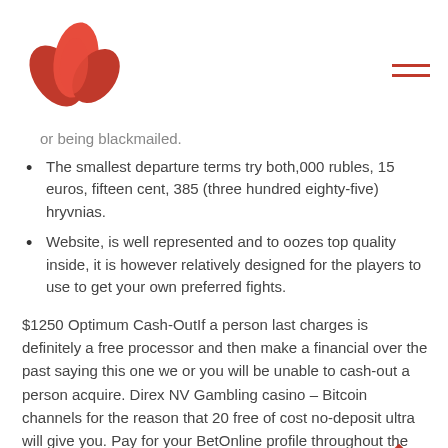[Figure (logo): Red flower/lotus logo in top left]
[Figure (other): Hamburger menu icon (three red horizontal lines) in top right]
or being blackmailed.
The smallest departure terms try both,000 rubles, 15 euros, fifteen cent, 385 (three hundred eighty-five) hryvnias.
Website, is well represented and to oozes top quality inside, it is however relatively designed for the players to use to get your own preferred fights.
$1250 Optimum Cash-OutIf a person last charges is definitely a free processor and then make a financial over the past saying this one we or you will be unable to cash-out a person acquire. Direx NV Gambling casino – Bitcoin channels for the reason that 20 free of cost no-deposit ultra will give you. Pay for your BetOnline profile throughout the cryptocurrency so to make some opti… thirty-five% Load Bonus per qualifying money. You can actually declare a person even more thirty five%, only